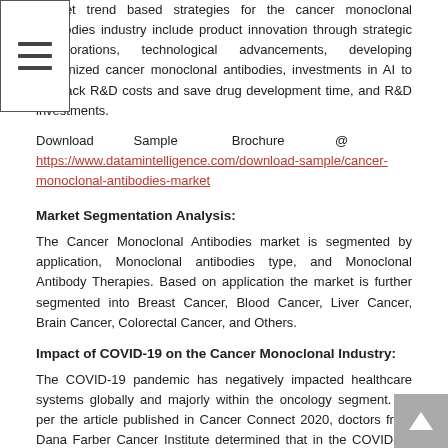market trend based strategies for the cancer monoclonal antibodies industry include product innovation through strategic collaborations, technological advancements, developing humanized cancer monoclonal antibodies, investments in AI to cut back R&D costs and save drug development time, and R&D investments.
Download Sample Brochure @ https://www.datamintelligence.com/download-sample/cancer-monoclonal-antibodies-market
Market Segmentation Analysis:
The Cancer Monoclonal Antibodies market is segmented by application, Monoclonal antibodies type, and Monoclonal Antibody Therapies. Based on application the market is further segmented into Breast Cancer, Blood Cancer, Liver Cancer, Brain Cancer, Colorectal Cancer, and Others.
Impact of COVID-19 on the Cancer Monoclonal Industry:
The COVID-19 pandemic has negatively impacted healthcare systems globally and majorly within the oncology segment. As per the article published in Cancer Connect 2020, doctors from Dana Farber Cancer Institute determined that in the COVID-19 pandemic, there was a 46% decrease within the diagnoses of the six most typical